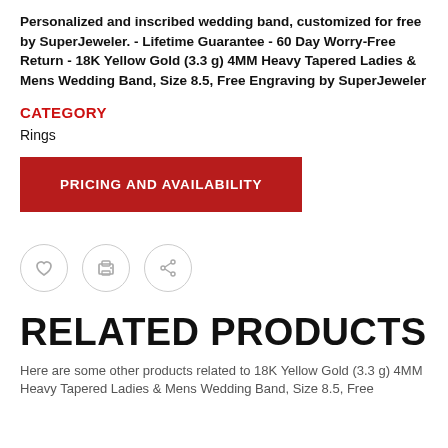Personalized and inscribed wedding band, customized for free by SuperJeweler. - Lifetime Guarantee - 60 Day Worry-Free Return - 18K Yellow Gold (3.3 g) 4MM Heavy Tapered Ladies & Mens Wedding Band, Size 8.5, Free Engraving by SuperJeweler
CATEGORY
Rings
[Figure (other): Red button labeled PRICING AND AVAILABILITY]
[Figure (other): Three circular icon buttons: heart (wishlist), printer, and share]
RELATED PRODUCTS
Here are some other products related to 18K Yellow Gold (3.3 g) 4MM Heavy Tapered Ladies & Mens Wedding Band, Size 8.5, Free...